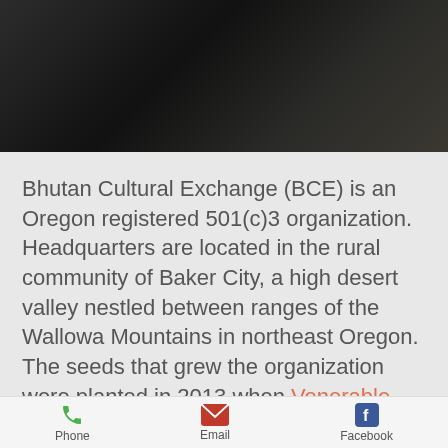[Figure (photo): Dark cave or rock formation photograph, mostly black with some dark brown tones]
Bhutan Cultural Exchange (BCE) is an Oregon registered 501(c)3 organization. Headquarters are located in the rural community of Baker City, a high desert valley nestled between ranges of the Wallowa Mountains in northeast Oregon. The seeds that grew the organization were planted in 2013 when Venerable Karma Namgyel Rinpoche, a Buddhist Lama from Bhutan was invited to the
Phone  Email  Facebook